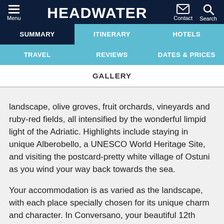HEADWATER — Menu | Contact | Search
SUMMARY | ITINERARY | HOTELS
TRAVEL | REVIEWS | DATES & PRICES
GALLERY
landscape, olive groves, fruit orchards, vineyards and ruby-red fields, all intensified by the wonderful limpid light of the Adriatic. Highlights include staying in unique Alberobello, a UNESCO World Heritage Site, and visiting the postcard-pretty white village of Ostuni as you wind your way back towards the sea.
Your accommodation is as varied as the landscape, with each place specially chosen for its unique charm and character. In Conversano, your beautiful 12th century former court house, with barrel-vaulted ceilings, is just a stone's throw from the elegant Romanesque cathedral; in Alberobello, you cannot fail to be seduced by the authentic trullo houses (limestone dwellings with conical